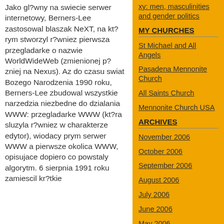Jako gl?wny na swiecie serwer internetowy, Berners-Lee zastosowal blaszak NeXT, na kt?rym stworzyl r?wniez pierwsza przegladarke o nazwie WorldWideWeb (zmienionej p?zniej na Nexus). Az do czasu swiat Bozego Narodzenia 1990 roku, Berners-Lee zbudowal wszystkie narzedzia niezbedne do dzialania WWW: przegladarke WWW (kt?ra sluzyla r?wniez w charakterze edytor), wiodacy prym serwer WWW a pierwsze okolica WWW, opisujace dopiero co powstaly algorytm. 6 sierpnia 1991 roku zamiescil kr?tkie
xy: men, masculinities and gender politics
MY CHURCHES
St Michael and All Angels
Pasadena Mennonite Church
All Saints Church
Mennonite Church USA
ARCHIVES
November 2006
October 2006
September 2006
August 2006
July 2006
June 2006
May 2006
April 2006
March 2006